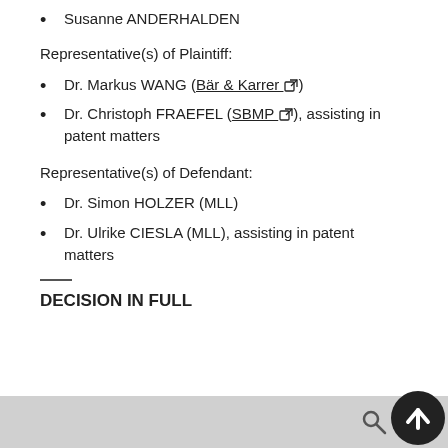Susanne ANDERHALDEN
Representative(s) of Plaintiff:
Dr. Markus WANG (Bär & Karrer [external link])
Dr. Christoph FRAEFEL (SBMP [external link]), assisting in patent matters
Representative(s) of Defendant:
Dr. Simon HOLZER (MLL)
Dr. Ulrike CIESLA (MLL), assisting in patent matters
DECISION IN FULL